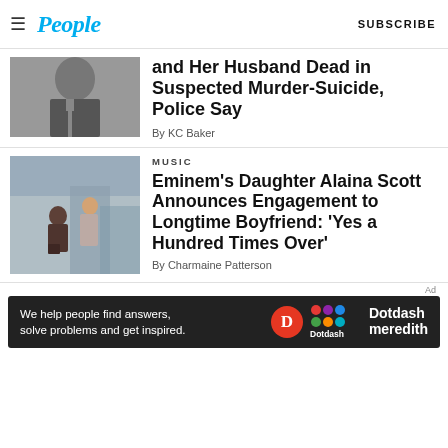People — SUBSCRIBE
and Her Husband Dead in Suspected Murder-Suicide, Police Say
By KC Baker
MUSIC
Eminem's Daughter Alaina Scott Announces Engagement to Longtime Boyfriend: 'Yes a Hundred Times Over'
By Charmaine Patterson
[Figure (infographic): Dotdash Meredith advertisement banner: 'We help people find answers, solve problems and get inspired.']